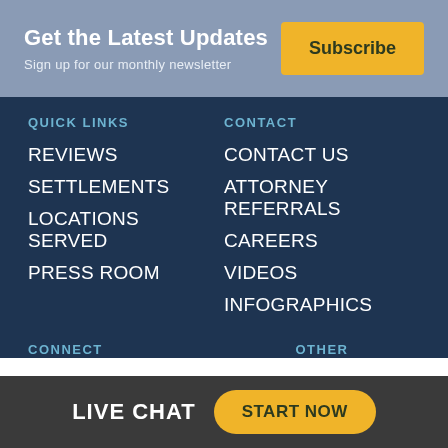Get the Latest Updates
Sign up for our monthly newsletter
Subscribe
QUICK LINKS
CONTACT
REVIEWS
CONTACT US
SETTLEMENTS
ATTORNEY REFERRALS
LOCATIONS SERVED
CAREERS
PRESS ROOM
VIDEOS
INFOGRAPHICS
CONNECT
OTHER
LIVE CHAT
START NOW